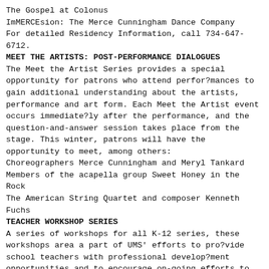The Gospel at Colonus
ImMERCEsion: The Merce Cunningham Dance Company
For detailed Residency Information, call 734-647-6712.
MEET THE ARTISTS: POST-PERFORMANCE DIALOGUES
The Meet the Artist Series provides a special opportunity for patrons who attend perfor?mances to gain additional understanding about the artists, performance and art form. Each Meet the Artist event occurs immediate?ly after the performance, and the question-and-answer session takes place from the stage. This winter, patrons will have the opportunity to meet, among others:
Choreographers Merce Cunningham and Meryl Tankard
Members of the acapella group Sweet Honey in the Rock
The American String Quartet and composer Kenneth Fuchs
TEACHER WORKSHOP SERIES
A series of workshops for all K-12 series, these workshops area a part of UMS' efforts to pro?vide school teachers with professional develop?ment opportunities and to encourage on-going efforts to incorporate the arts in the curriculum. This Winter Season's workshops include three by Kennedy Center educators and three led by local experts tailored to UMS performances:
Kodo, Monday, January 25, 4-6 p.m., Washtenaw Intermediate School District, Ann Arbor, Grades K-12